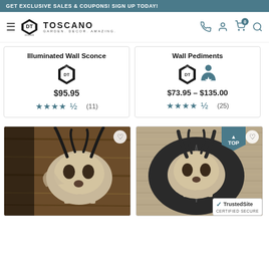GET EXCLUSIVE SALES & COUPONS! SIGN UP TODAY!
[Figure (screenshot): Design Toscano website header with logo, navigation icons (phone, account, cart with 0 badge, search)]
Illuminated Wall Sconce
$95.95
★★★★½ (11)
Wall Pediments
$73.95 – $135.00
★★★★½ (25)
[Figure (photo): Dragon skull wall decoration with black horns on wood background]
[Figure (photo): Dragon skull wall plaque on dark oval mount with TOP badge and TrustedSite certified secure badge]